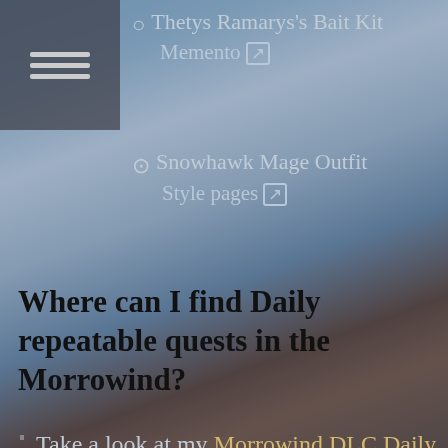Thetys Ramarys's Bait Kit Memento 🔗
⊙ Snowhawk Mage Outfit Style pages 🔗
Where can I find Daily repeatable quests in the Morrowind?
Take a look at my Morrowind DLC Daily Repeatable Quest guide 🔗